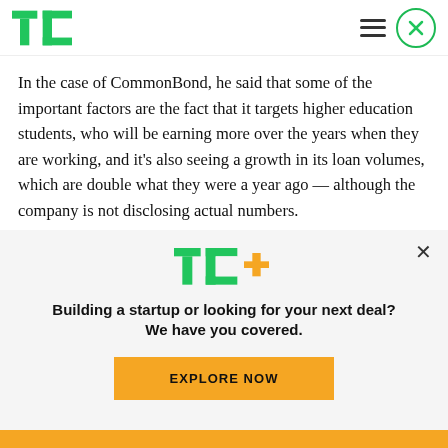TechCrunch logo and navigation
In the case of CommonBond, he said that some of the important factors are the fact that it targets higher education students, who will be earning more over the years when they are working, and it's also seeing a growth in its loan volumes, which are double what they were a year ago — although the company is not disclosing actual numbers.
[Figure (logo): TechCrunch TC+ logo in green with orange plus sign]
Building a startup or looking for your next deal? We have you covered.
EXPLORE NOW